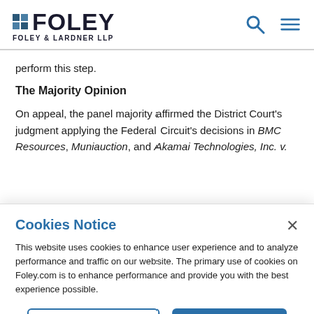FOLEY FOLEY & LARDNER LLP
perform this step.
The Majority Opinion
On appeal, the panel majority affirmed the District Court's judgment applying the Federal Circuit's decisions in BMC Resources, Muniauction, and Akamai Technologies, Inc. v.
Cookies Notice
This website uses cookies to enhance user experience and to analyze performance and traffic on our website. The primary use of cookies on Foley.com is to enhance performance and provide you with the best experience possible.
Manage Preferences   Accept Cookies